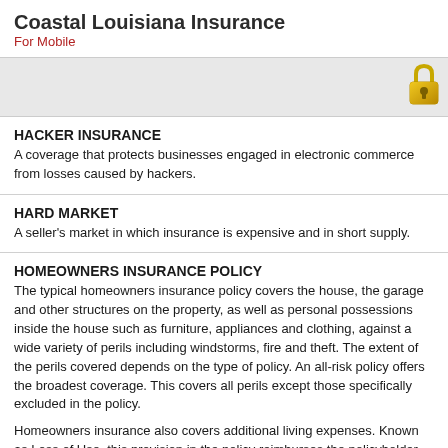Coastal Louisiana Insurance
For Mobile
[Figure (illustration): Gray navigation bar with a gold padlock icon in the upper right corner]
HACKER INSURANCE
A coverage that protects businesses engaged in electronic commerce from losses caused by hackers.
HARD MARKET
A seller's market in which insurance is expensive and in short supply.
HOMEOWNERS INSURANCE POLICY
The typical homeowners insurance policy covers the house, the garage and other structures on the property, as well as personal possessions inside the house such as furniture, appliances and clothing, against a wide variety of perils including windstorms, fire and theft. The extent of the perils covered depends on the type of policy. An all-risk policy offers the broadest coverage. This covers all perils except those specifically excluded in the policy.
Homeowners insurance also covers additional living expenses. Known as Loss of Use, this provision in the policy reimburses the policyholder for the extra cost of living elsewhere while the house is being restored after a disaster. The liability portion of the policy covers the homeowner for accidental injuries caused to third parties and/or their property, such as a guest slipping and falling down improperly maintained stairs.